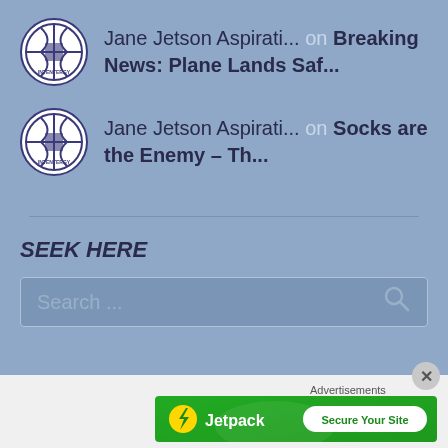Jane Jetson Aspirati... on Breaking News: Plane Lands Saf...
Jane Jetson Aspirati... on Socks are the Enemy – Th...
SEEK HERE
Search ...
Advertisements
[Figure (logo): Jetpack advertisement banner with green background, Jetpack logo and 'Secure Your Site' button]